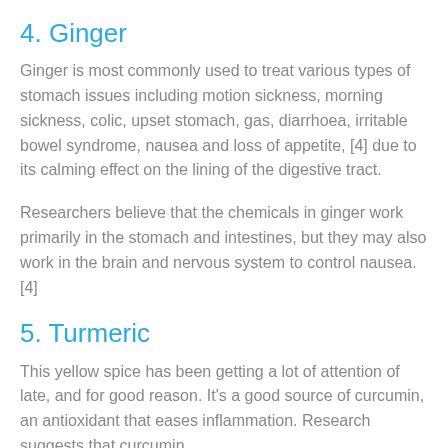4. Ginger
Ginger is most commonly used to treat various types of stomach issues including motion sickness, morning sickness, colic, upset stomach, gas, diarrhoea, irritable bowel syndrome, nausea and loss of appetite, [4] due to its calming effect on the lining of the digestive tract.
Researchers believe that the chemicals in ginger work primarily in the stomach and intestines, but they may also work in the brain and nervous system to control nausea. [4]
5. Turmeric
This yellow spice has been getting a lot of attention of late, and for good reason. It's a good source of curcumin, an antioxidant that eases inflammation. Research suggests that curcumin may help prevent or treat...